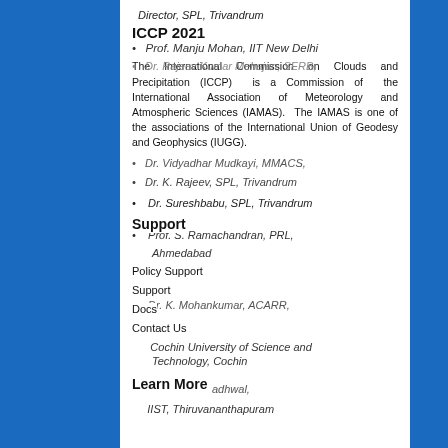Director, SPL, Trivandrum
ICCP 2021
Prof. Manju Mohan, IIT New Delhi
The International Commission on Clouds and Precipitation (ICCP) is a Commission of the International Association of Meteorology and Atmospheric Sciences (IAMAS). The IAMAS is one of the associations of the International Union of Geodesy and Geophysics (IUGG).
Dr. Rajeev Kumar Mehajan, SERB, New Delhi
Dr. Vidyadhar Mudkayi, MMACS, Pune
Dr. K. Rajeev, SPL, Trivandrum
Dr. Sureshbabu, SPL, Trivandrum
Support
Prof. S. Ramachandran, PRL, Ahmedabad
Policy Support
Docs
Contact Us
Dr. K. Mohankumar, ACARR, Cochin University of Science and Technology, Cochin
Learn More
IIST, Thiruvananthapuram